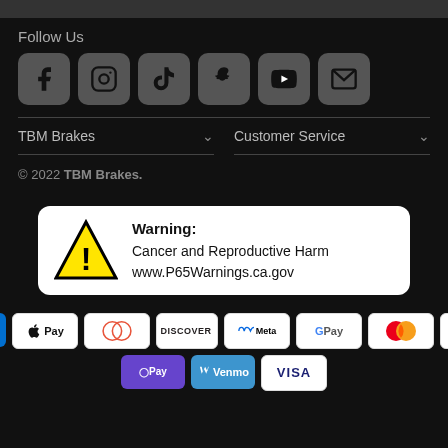Follow Us
[Figure (infographic): Row of six social media icon buttons: Facebook, Instagram, TikTok, Snapchat, YouTube, Email]
TBM Brakes
Customer Service
© 2022 TBM Brakes.
[Figure (infographic): Warning box with yellow triangle warning symbol: Warning: Cancer and Reproductive Harm www.P65Warnings.ca.gov]
[Figure (infographic): Payment method icons: AMEX, Apple Pay, Diners, Discover, Meta, Google Pay, Mastercard, PayPal, OPay, Venmo, Visa]